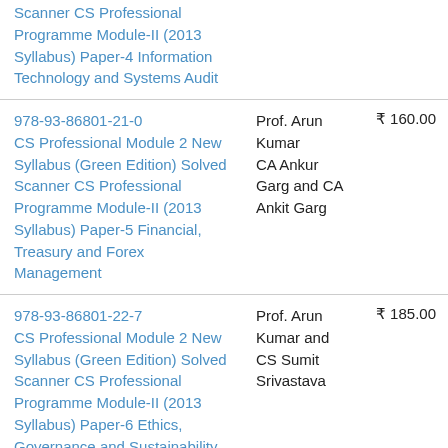| Title/ISBN | Author | Price |
| --- | --- | --- |
| Scanner CS Professional Programme Module-II (2013 Syllabus) Paper-4 Information Technology and Systems Audit |  |  |
| 978-93-86801-21-0
CS Professional Module 2 New Syllabus (Green Edition) Solved Scanner CS Professional Programme Module-II (2013 Syllabus) Paper-5 Financial, Treasury and Forex Management | Prof. Arun Kumar
CA Ankur Garg and CA Ankit Garg | ₹ 160.00 |
| 978-93-86801-22-7
CS Professional Module 2 New Syllabus (Green Edition) Solved Scanner CS Professional Programme Module-II (2013 Syllabus) Paper-6 Ethics, Governance and Sustainability | Prof. Arun Kumar and CS Sumit Srivastava | ₹ 185.00 |
| 978-93-86801-59-3 | Prof. Arun | ₹ 130.00 |